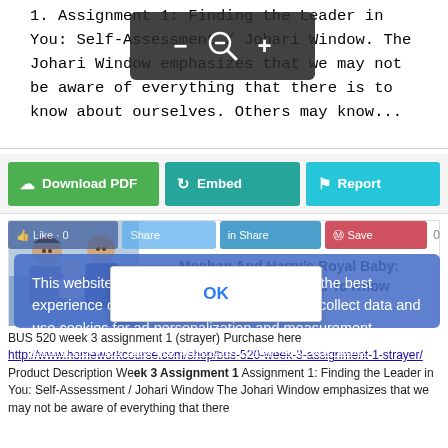1. Assignment 1: Finding the Leader in You: Self-Assessment / Johari Window. The Johari Window emphasizes that we may not be aware of everything that there is to know about ourselves. Others may know...
[Figure (screenshot): Zoom in/out overlay on document preview with minus and plus buttons]
[Figure (screenshot): Three action buttons: Download PDF (green), Embed (teal), Report (cyan)]
[Figure (photo): Meghan and Harry with their baby]
Meghan And Harry’s Royal Baby: Everything You Need To Know
This website uses cookies to ensure you get the best experience on our website. Our partners will collect data and use cookies for ad personalization and measurement. Learn how we and our partners collect and use data.
OK
BUS 520 week 3 assignment 1 (strayer) Purchase here http://www.homeworkcourse.com/shop/bus-520-week-3-assignment-1-strayer/ Product Description Week 3 Assignment 1 Assignment 1: Finding the Leader in You: Self-Assessment / Johari Window The Johari Window emphasizes that we may not be aware of everything that there